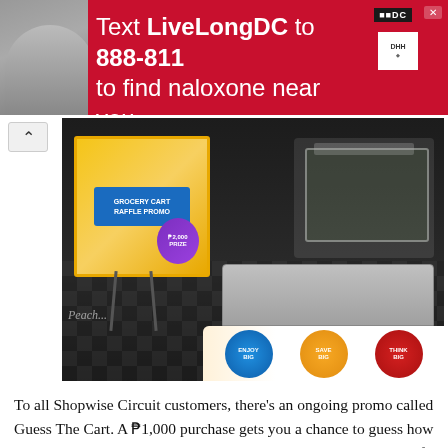[Figure (photo): Advertisement banner: red background with text 'Text LiveLongDC to 888-811 to find naloxone near you.' with DC and DHH logos on right and a photo of a person on the left.]
[Figure (photo): Retail store photo showing a promotional signboard with a shopping cart and groceries, branded display, and 'Enjoy Big, Save Big, Think Big' branding circles at the bottom right.]
To all Shopwise Circuit customers, there's an ongoing promo called Guess The Cart. A ₱1,000 purchase gets you a chance to guess how much are the groceries inside the cart. There will be 10 winners of ₱2,000 worth of Gift certificate weekly from July 27 to August 23, 2018.